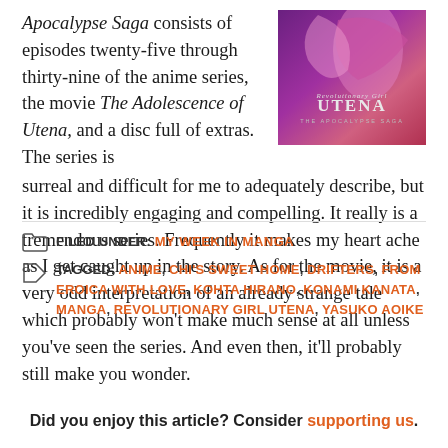Apocalypse Saga consists of episodes twenty-five through thirty-nine of the anime series, the movie The Adolescence of Utena, and a disc full of extras. The series is surreal and difficult for me to adequately describe, but it is incredibly engaging and compelling. It really is a tremendous series. Frequently it makes my heart ache as I get caught up in the story. As for the movie, it is a very odd interpretation of an already strange tale which probably won't make much sense at all unless you've seen the series. And even then, it'll probably still make you wonder.
[Figure (photo): Book cover for Revolutionary Girl Utena: The Apocalypse Saga, showing purple/pink artistic design with the title UTENA]
FILED UNDER: MY WEEK IN MANGA
TAGGED: ANIME, CHI'S SWEET HOME, DRIFTERS, FROM EROICA WITH LOVE, KOHTA HIRANO, KONAMI KANATA, MANGA, REVOLUTIONARY GIRL UTENA, YASUKO AOIKE
Did you enjoy this article? Consider supporting us.